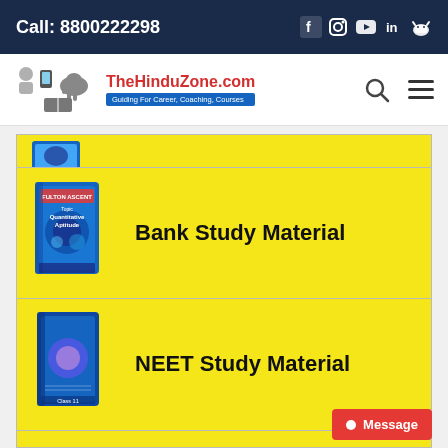Call: 8800222298
[Figure (logo): TheHinduZone.com logo with tagline 'Guiding For Career, Coaching, Courses']
[Figure (screenshot): Partial yellow card with book image at top, cut off]
Bank Study Material
NEET Study Material
[Figure (other): Red Message button at bottom right]